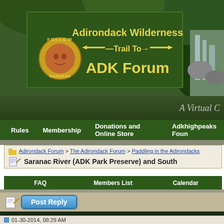[Figure (screenshot): Adirondack Wilderness Trail To ADK Forum website banner with forest background, green box with yellow text logo, and circular Follow Markers icon on the left]
A Virtual C
Rules   Membership   Donations and Online Store   Adkhighpeaks Foun
Adirondack Forum > The Adirondack Forum > Paddling in the Adirondacks
Saranac River (ADK Park Preserve) and South
FAQ   Members List   Calendar
[Figure (screenshot): Post Reply button with document and pencil icon]
01-30-2014, 08:29 AM
Steelhead73
Member
Saranac River (ADK Park Preserve) and S
Wondering if anyone has any informa